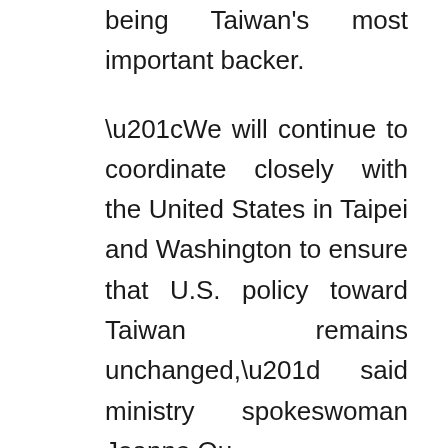being Taiwan's most important backer.
“We will continue to coordinate closely with the United States in Taipei and Washington to ensure that U.S. policy toward Taiwan remains unchanged,” said ministry spokeswoman Joanne Ou.
Taiwan’s government has denounced China’s moves against it, and says it will defend the island’s freedom and democracy, and that only Taiwan’s people can decide their future.